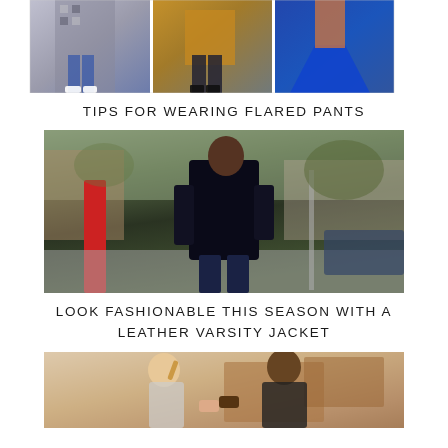[Figure (photo): Three women wearing flared/wide-leg jeans in street style photos side by side]
TIPS FOR WEARING FLARED PANTS
[Figure (photo): Man in black leather varsity jacket standing on a city street]
LOOK FASHIONABLE THIS SEASON WITH A LEATHER VARSITY JACKET
[Figure (photo): Two people looking at items, partial bottom crop]